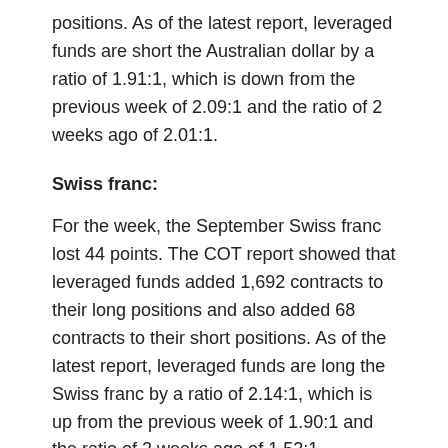positions. As of the latest report, leveraged funds are short the Australian dollar by a ratio of 1.91:1, which is down from the previous week of 2.09:1 and the ratio of 2 weeks ago of 2.01:1.
Swiss franc:
For the week, the September Swiss franc lost 44 points. The COT report showed that leveraged funds added 1,692 contracts to their long positions and also added 68 contracts to their short positions. As of the latest report, leveraged funds are long the Swiss franc by a ratio of 2.14:1, which is up from the previous week of 1.90:1 and the ratio of 2 weeks ago of 1.52:1.
British pound: